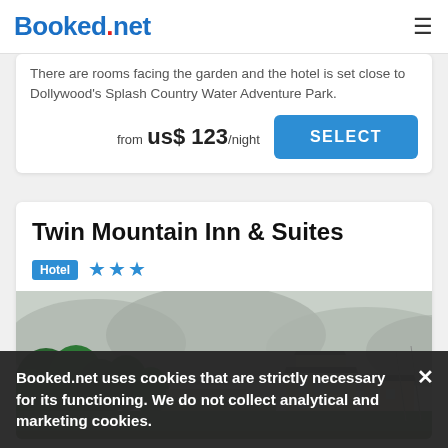Booked.net
There are rooms facing the garden and the hotel is set close to Dollywood's Splash Country Water Adventure Park.
from us$ 123/night SELECT
Twin Mountain Inn & Suites
Hotel ★★★
[Figure (photo): Aerial/elevated view of Twin Mountain Inn & Suites building surrounded by trees, mountains with fog in background]
Booked.net uses cookies that are strictly necessary for its functioning. We do not collect analytical and marketing cookies.